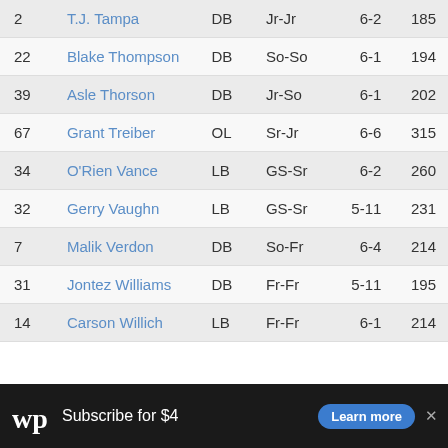| # | Name | Pos | Yr | Ht | Wt |
| --- | --- | --- | --- | --- | --- |
| 2 | T.J. Tampa | DB | Jr-Jr | 6-2 | 185 |
| 22 | Blake Thompson | DB | So-So | 6-1 | 194 |
| 39 | Asle Thorson | DB | Jr-So | 6-1 | 202 |
| 67 | Grant Treiber | OL | Sr-Jr | 6-6 | 315 |
| 34 | O'Rien Vance | LB | GS-Sr | 6-2 | 260 |
| 32 | Gerry Vaughn | LB | GS-Sr | 5-11 | 231 |
| 7 | Malik Verdon | DB | So-Fr | 6-4 | 214 |
| 31 | Jontez Williams | DB | Fr-Fr | 5-11 | 195 |
| 14 | Carson Willich | LB | Fr-Fr | 6-1 | 214 |
[Figure (other): Washington Post advertisement banner: Subscribe for $4, Learn more button]